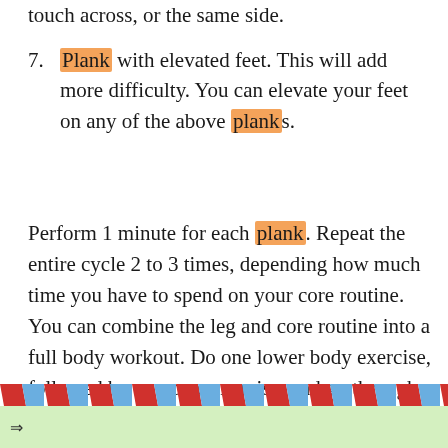touch across, or the same side.
7. Plank with elevated feet. This will add more difficulty. You can elevate your feet on any of the above planks.
Perform 1 minute for each plank. Repeat the entire cycle 2 to 3 times, depending how much time you have to spend on your core routine. You can combine the leg and core routine into a full body workout. Do one lower body exercise, followed by one core exercise, and go through all exercises. Repeat the entire cycle.
[Figure (other): Decorative diagonal red and blue stripe bar border]
[Figure (other): Light green footer bar with arrow icon]